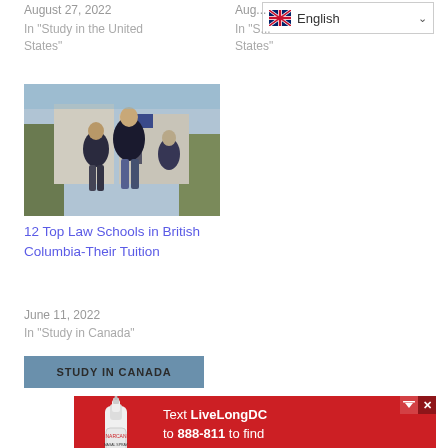August 27, 2022
In "Study in the United States"
Aug...
In "S...
States"
[Figure (photo): Students walking on a university campus, wearing dark sweatshirts, with trees in the background]
12 Top Law Schools in British Columbia-Their Tuition
June 11, 2022
In "Study in Canada"
STUDY IN CANADA
[Figure (other): Advertisement banner: red background with image of a hand holding a nasal spray device. Text: 'Text LiveLongDC to 888-811 to find naloxone near you.' with LiveLong DC and DBH logos and District of Columbia government branding.]